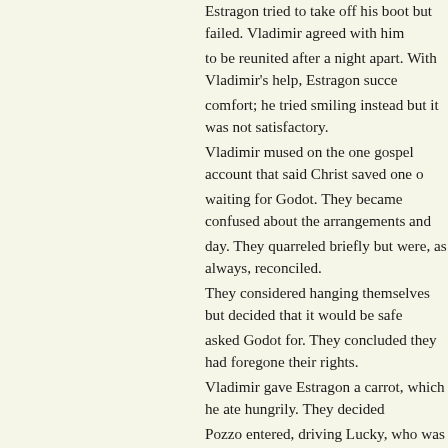Estragon tried to take off his boot but failed. Vladimir agreed with him to be reunited after a night apart. With Vladimir's help, Estragon succeeded comfort; he tried smiling instead but it was not satisfactory. Vladimir mused on the one gospel account that said Christ saved one waiting for Godot. They became confused about the arrangements and day. They quarreled briefly but were, as always, reconciled. They considered hanging themselves but decided that it would be safe asked Godot for. They concluded they had foregone their rights. Vladimir gave Estragon a carrot, which he ate hungrily. They decided Pozzo entered, driving Lucky, who was laden with luggage fastened b accepted him as Pozzo. Although he attempted to intimidate them, he coat, he gave Lucky the whip. Lucky obeyed automatically. Vladimir deflected their outburst and the subject was dropped. After smoking a pipe, Pozzo rose. He then decided he did not want to wanted to know why Lucky never put down the luggage. Pozzo said th would sell Lucky rather than throw him out, Lucky wept; but when Es philosophized on this and said that Lucky had taught him all the beaut driving Pozzo mad. Estragon and Vladimir then abused Lucky for mis Pozzo broke into a monologue on the twilight, alternating between the happened in the world when one was least prepared. He decided to rev Lucky executed a feeble dance which Estragon mocked but failed to in Estragon stated that there had been no arrivals, no departures, and no a think for them. For this Vladimir replaced Lucky's derby hat. Lucky's possible goodness of God, the tortures of hell fire, the prevalence of sp